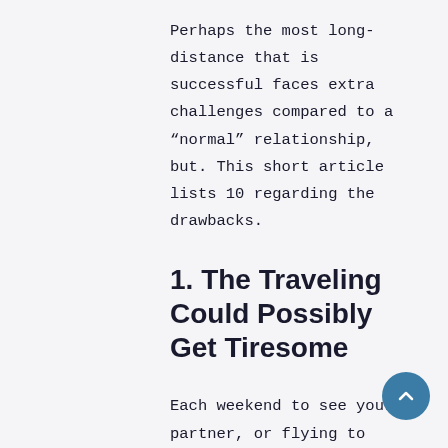Perhaps the most long-distance that is successful faces extra challenges compared to a “normal” relationship, but. This short article lists 10 regarding the drawbacks.
1. The Traveling Could Possibly Get Tiresome
Each weekend to see your partner, or flying to another country several times a year, the travel can